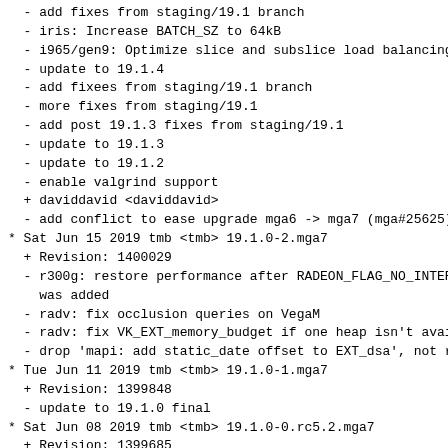- add fixes from staging/19.1 branch
- iris: Increase BATCH_SZ to 64kB
- i965/gen9: Optimize slice and subslice load balancing
- update to 19.1.4
- add fixees from staging/19.1 branch
- more fixes from staging/19.1
- add post 19.1.3 fixes from staging/19.1
- update to 19.1.3
- update to 19.1.2
- enable valgrind support
+ daviddavid <daviddavid>
- add conflict to ease upgrade mga6 -> mga7 (mga#25625)
* Sat Jun 15 2019 tmb <tmb> 19.1.0-2.mga7
+ Revision: 1400029
- r300g: restore performance after RADEON_FLAG_NO_INTER was added
- radv: fix occlusion queries on VegaM
- radv: fix VK_EXT_memory_budget if one heap isn't avai
- drop 'mapi: add static_date offset to EXT_dsa', not r
* Tue Jun 11 2019 tmb <tmb> 19.1.0-1.mga7
+ Revision: 1399848
- update to 19.1.0 final
* Sat Jun 08 2019 tmb <tmb> 19.1.0-0.rc5.2.mga7
+ Revision: 1399685
- add upstream mapi fixes for fdo#110302 (last 19.1 fi
* mapi: add static_date offset to MaxShaderCompilerTh
* mapi: add static_date offset to EXT_dsa
* mapi: correctly handle the full offset table
* Wed Jun 05 2019 tmb <tmb> 19.1.0-0.rc5.1.mga7
+ Revision: 1399605